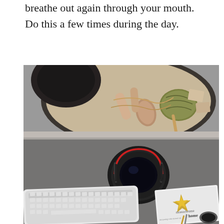breathe out again through your mouth. Do this a few times during the day.
[Figure (photo): Flat lay photo showing a desk workspace from above. Top half shows a round plate/tray with craft supplies including yarn/twine balls, rolled papers, twigs, and flat lay items on a light surface. Bottom half shows a camera lens, an Apple wireless keyboard, and a book titled 'monochrome home' with a gold star logo, scattered on a dark grey/concrete surface.]